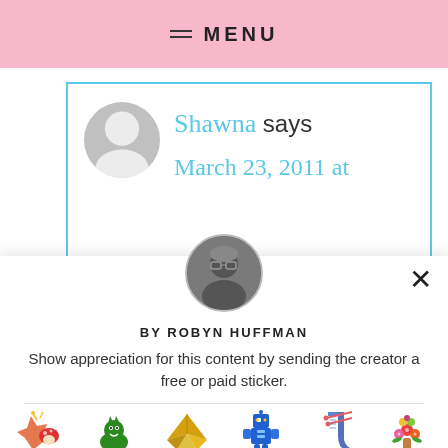MENU
[Figure (screenshot): Partially visible blog comment card with avatar placeholder, name 'Shawna says' and date 'March 23, 2011 at' in blue handwriting font, inside a blue border box]
[Figure (photo): Circular author photo of Robyn Huffman, a person with glasses]
BY ROBYN HUFFMAN
Show appreciation for this content by sending the creator a free or paid sticker.
[Figure (infographic): Row of stickers with prices: Free (carnival/festival sticker), $1.00 (green dinosaur), $2.00 (gold origami crane), $4.00 (blue robot), $8.00 (blue knitting sock), $12.00 (flower bouquet)]